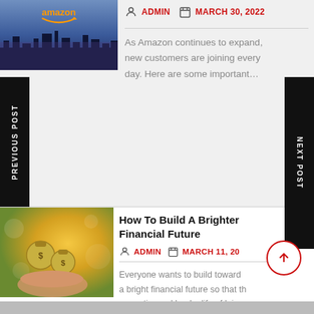[Figure (photo): Amazon-themed cityscape image with orange logo arc at top, dark blue city skyline silhouette]
ADMIN   MARCH 30, 2022
As Amazon continues to expand, new customers are joining every day. Here are some important...
PREVIOUS POST
NEXT POST
[Figure (photo): Hands holding money bags with golden bokeh background]
How To Build A Brighter Financial Future
ADMIN   MARCH 11, 20
Everyone wants to build toward a bright financial future so that they can retire and lead a life of leisure,...